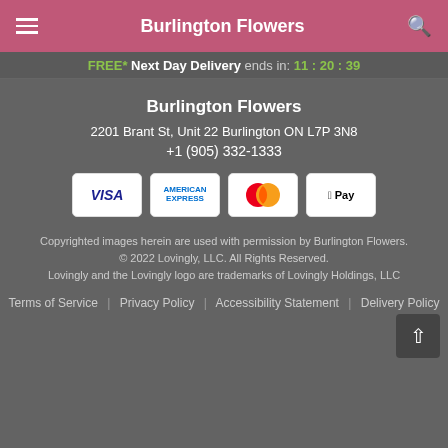Burlington Flowers
FREE* Next Day Delivery ends in: 11:20:39
Burlington Flowers
2201 Brant St, Unit 22 Burlington ON L7P 3N8
+1 (905) 332-1333
[Figure (logo): Payment method logos: VISA, American Express, Mastercard, Apple Pay]
Copyrighted images herein are used with permission by Burlington Flowers.
© 2022 Lovingly, LLC. All Rights Reserved.
Lovingly and the Lovingly logo are trademarks of Lovingly Holdings, LLC
Terms of Service | Privacy Policy | Accessibility Statement | Delivery Policy